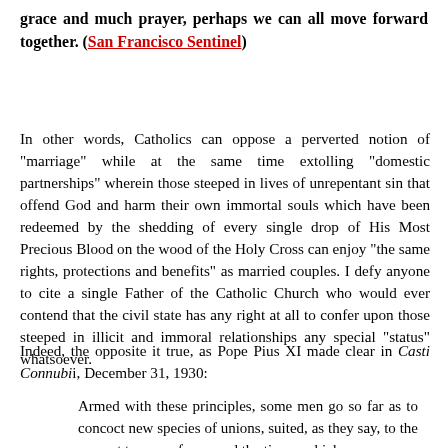grace and much prayer, perhaps we can all move forward together. (San Francisco Sentinel)
In other words, Catholics can oppose a perverted notion of "marriage" while at the same time extolling "domestic partnerships" wherein those steeped in lives of unrepentant sin that offend God and harm their own immortal souls which have been redeemed by the shedding of every single drop of His Most Precious Blood on the wood of the Holy Cross can enjoy "the same rights, protections and benefits" as married couples. I defy anyone to cite a single Father of the Catholic Church who would ever contend that the civil state has any right at all to confer upon those steeped in illicit and immoral relationships any special "status" whatsoever.
Indeed, the opposite it true, as Pope Pius XI made clear in Casti Connubii, December 31, 1930:
Armed with these principles, some men go so far as to concoct new species of unions, suited, as they say, to the present temper of men and the times, which...